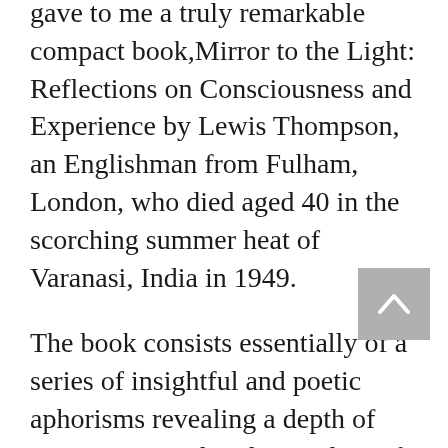gave to me a truly remarkable compact book,Mirror to the Light: Reflections on Consciousness and Experience by Lewis Thompson, an Englishman from Fulham, London, who died aged 40 in the scorching summer heat of Varanasi, India in 1949.
The book consists essentially of a series of insightful and poetic aphorisms revealing a depth of perceptions and understanding of the field of experience.
Lewis Thompson sits comfortably with the long-standing tradition of ancient India of the sages, who